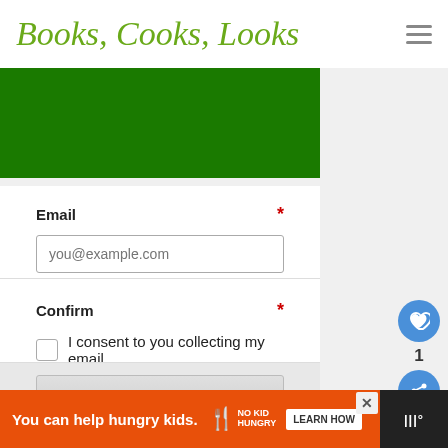Books, Cooks, Looks
[Figure (screenshot): Green banner image area at top of subscription form]
Email *
you@example.com
Confirm *
I consent to you collecting my email
Subscribe
[Figure (other): Ad banner: You can help hungry kids. No Kid Hungry. Learn How.]